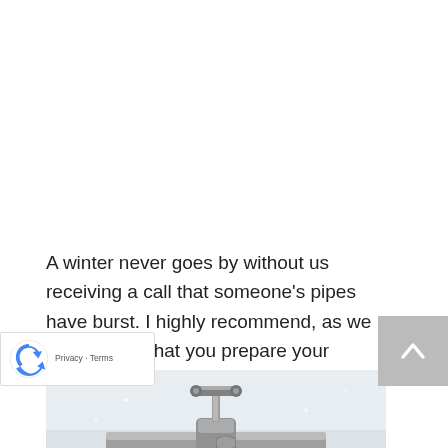A winter never goes by without us receiving a call that someone's pipes have burst. I highly recommend, as we get into fall, that you prepare your plumbing for the cold.
[Figure (photo): Close-up photo of a metal pipe valve/tap fitting, appearing weathered or frosted, against a light background. A hand is partially visible at the bottom.]